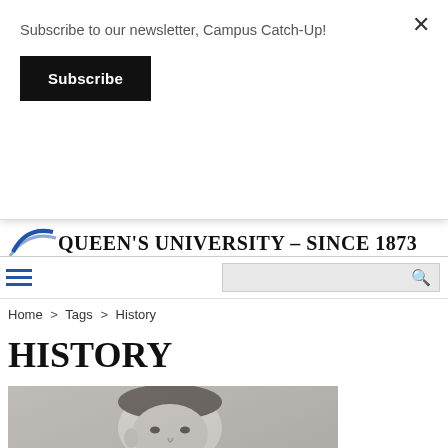Subscribe to our newsletter, Campus Catch-Up!
Subscribe
QUEEN'S UNIVERSITY – SINCE 1873
Home > Tags > History
HISTORY
[Figure (photo): Black and white portrait photograph of a young man in a suit and tie]